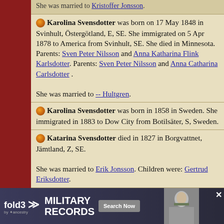She was married to Kristoffer Jonsson.
Karolina Svensdotter was born on 17 May 1848 in Svinhult, Östergötland, E, SE. She immigrated on 5 Apr 1878 to America from Svinhult, SE. She died in Minnesota. Parents: Sven Peter Nilsson and Anna Katharina Flink Karlsdotter. Parents: Sven Peter Nilsson and Anna Catharina Carlsdotter. She was married to -- Hultgren.
Karolina Svensdotter was born in 1858 in Sweden. She immigrated in 1883 to Dow City from Botilsäter, S, Sweden.
Katarina Svensdotter died in 1827 in Borgvattnet, Jämtland, Z, SE. She was married to Erik Jonsson. Children were: Gertrud Eriksdotter.
1766 in
[Figure (infographic): fold3 by Ancestry advertisement banner for Military Records with Search Now button and soldier photo]